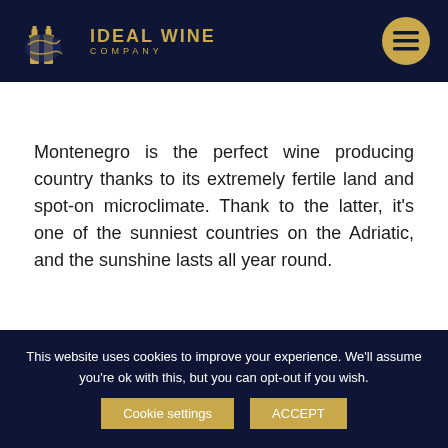[Figure (logo): Ideal Wine Company logo with two gold wine bottles on a dark navy background and gold text reading IDEAL WINE COMPANY]
Montenegro is the perfect wine producing country thanks to its extremely fertile land and spot-on microclimate. Thank to the latter, it's one of the sunniest countries on the Adriatic, and the sunshine lasts all year round.
This website uses cookies to improve your experience. We'll assume you're ok with this, but you can opt-out if you wish.
Cookie settings   ACCEPT